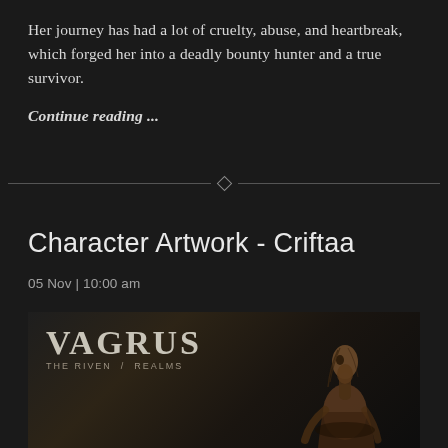Her journey has had a lot of cruelty, abuse, and heartbreak, which forged her into a deadly bounty hunter and a true survivor.
Continue reading ...
Character Artwork - Criftaa
05 Nov | 10:00 am
[Figure (illustration): Illustration for Vagrus: The Riven Realms game. Shows the Vagrus logo in stylized serif font with subtitle 'THE RIVEN REALMS' on the left, and a dark fantasy creature/character on the right — a gaunt, bird-like humanoid figure with elongated face, sparse hair, and ragged clothing.]